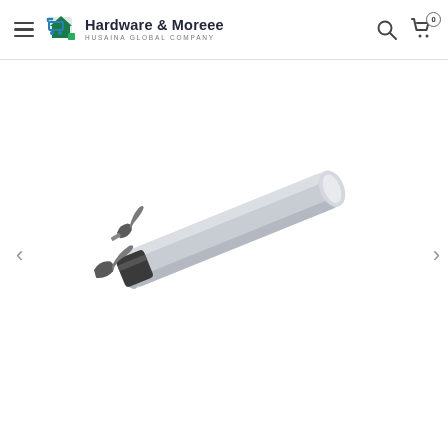Hardware & Moreee - HUSAINA GLOBAL COMPANY
[Figure (photo): A deburring tool with a silver/aluminum hexagonal handle and a dark plastic collar with interchangeable blades attached. Two curved blades are shown, one inserted and one spare, both metallic/dark in color. The tool is displayed diagonally on a white background.]